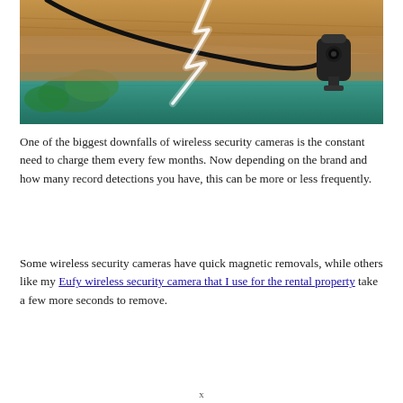[Figure (photo): A security camera mounted on a wooden eave/soffit with a black cable running to it. A dramatic lightning bolt is visible in the background sky, and a green fence/garden area is visible below.]
One of the biggest downfalls of wireless security cameras is the constant need to charge them every few months. Now depending on the brand and how many record detections you have, this can be more or less frequently.
Some wireless security cameras have quick magnetic removals, while others like my Eufy wireless security camera that I use for the rental property take a few more seconds to remove.